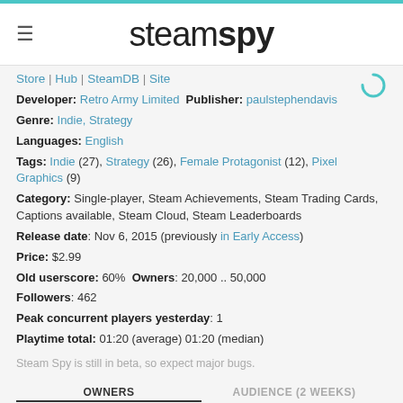steamspy
Store | Hub | SteamDB | Site
Developer: Retro Army Limited  Publisher: paulstephendavis
Genre: Indie, Strategy
Languages: English
Tags: Indie (27), Strategy (26), Female Protagonist (12), Pixel Graphics (9)
Category: Single-player, Steam Achievements, Steam Trading Cards, Captions available, Steam Cloud, Steam Leaderboards
Release date: Nov 6, 2015 (previously in Early Access)
Price: $2.99
Old userscore: 60%  Owners: 20,000 .. 50,000
Followers: 462
Peak concurrent players yesterday: 1
Playtime total: 01:20 (average) 01:20 (median)
Steam Spy is still in beta, so expect major bugs.
OWNERS | AUDIENCE (2 WEEKS)
CCU (DAILY) | CCU (HOURLY)